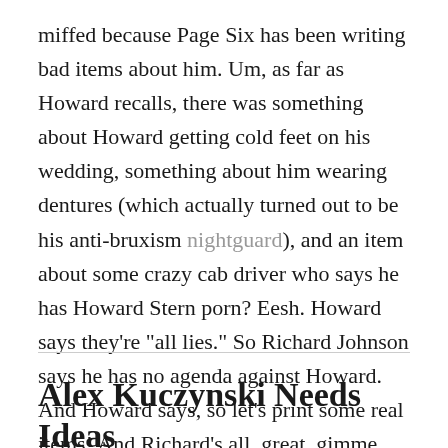miffed because Page Six has been writing bad items about him. Um, as far as Howard recalls, there was something about Howard getting cold feet on his wedding, something about him wearing dentures (which actually turned out to be his anti-bruxism nightguard), and an item about some crazy cab driver who says he has Howard Stern porn? Eesh. Howard says they're "all lies." So Richard Johnson says he has no agenda against Howard. And Howard says, so let's print some real items! And Richard's all, great, gimme some! Aww. That is so sweet.
Alex Kuczynski Needs Ideas